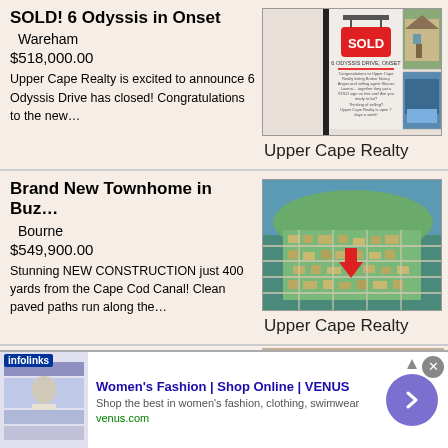SOLD! 6 Odyssis in Onset
Wareham
$518,000.00
Upper Cape Realty is excited to announce 6 Odyssis Drive has closed! Congratulations to the new…
[Figure (photo): Real estate listing card with SOLD sign and house photos for 6 Odyssis Drive, Onset]
Upper Cape Realty
Brand New Townhome in Buz…
Bourne
$549,900.00
Stunning NEW CONSTRUCTION just 400 yards from the Cape Cod Canal! Clean paved paths run along the…
[Figure (photo): Aerial photo of a neighborhood near water with a red arrow marker indicating the property location]
Upper Cape Realty
1156 Main St. Wareham
[Figure (screenshot): Advertisement banner: Women's Fashion | Shop Online | VENUS — venus.com]